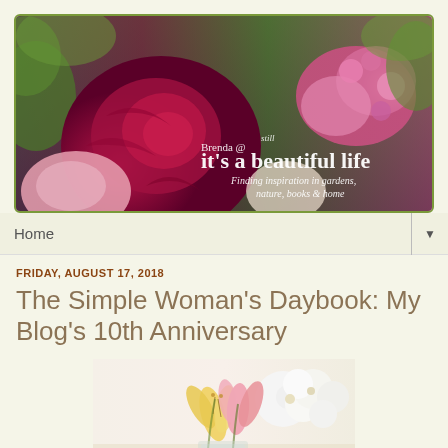[Figure (photo): Blog header banner with flower photography background showing deep red/pink roses and pink flowers. White text overlay reads: 'Brenda @ it's still a beautiful life – Finding inspiration in gardens, nature, books & home']
Home
FRIDAY, AUGUST 17, 2018
The Simple Woman's Daybook: My Blog's 10th Anniversary
[Figure (photo): Floral arrangement photograph showing white daisies/mums and pink/yellow lilies in a vase, partial crop showing bottom portion of page]